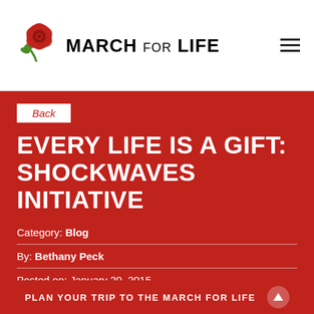MARCH FOR LIFE
Back
EVERY LIFE IS A GIFT: SHOCKWAVES INITIATIVE
Category: Blog
By: Bethany Peck
Posted on: January 20, 2015
PLAN YOUR TRIP TO THE MARCH FOR LIFE